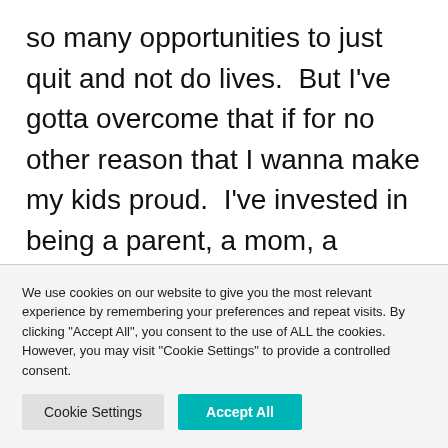so many opportunities to just quit and not do lives.  But I've gotta overcome that if for no other reason that I wanna make my kids proud.  I've invested in being a parent, a mom, a homeschooler for so many years.  I feel like God has put that on my heart so who am I to just quit on that.
We use cookies on our website to give you the most relevant experience by remembering your preferences and repeat visits. By clicking "Accept All", you consent to the use of ALL the cookies. However, you may visit "Cookie Settings" to provide a controlled consent.